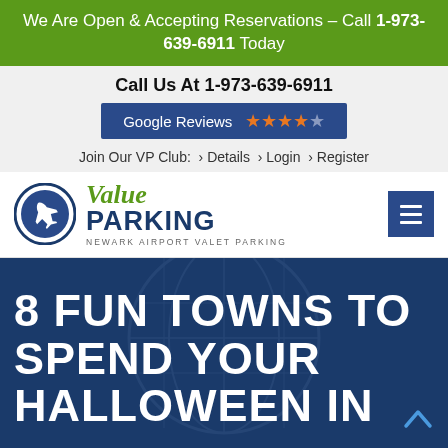We Are Open & Accepting Reservations – Call 1-973-639-6911 Today
Call Us At 1-973-639-6911
[Figure (other): Google Reviews badge with 4.5 stars rating shown in blue bar with orange stars]
Join Our VP Club:  > Details  > Login  > Register
[Figure (logo): Value Parking logo: airplane in circle, 'Value' in green italic script, 'PARKING' in bold navy, 'NEWARK AIRPORT VALET PARKING' subtitle]
8 FUN TOWNS TO SPEND YOUR HALLOWEEN IN